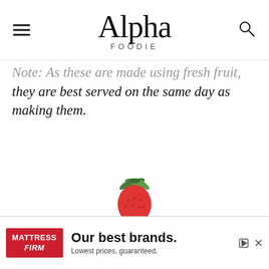Alpha Foodie
Note: As these are made using fresh fruit, they are best served on the same day as making them.
[Figure (photo): Partial view of a strawberry with green leaves visible at the bottom center of the page]
[Figure (other): Advertisement banner: Mattress Firm logo on red background, text 'Our best brands. Lowest prices, guaranteed.' with play and close controls]